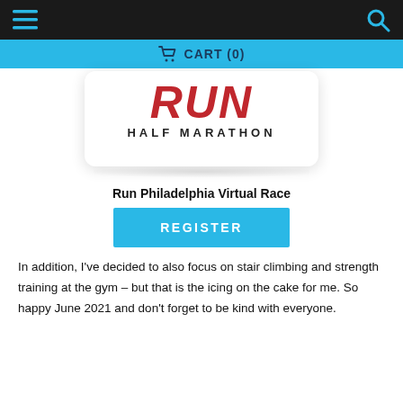≡  🔍
🛒 CART (0)
[Figure (logo): RUN Half Marathon logo — red stylized letters RUN above black text HALF MARATHON, on white card with rounded corners and shadow]
Run Philadelphia Virtual Race
REGISTER
In addition, I've decided to also focus on stair climbing and strength training at the gym – but that is the icing on the cake for me. So happy June 2021 and don't forget to be kind with everyone.